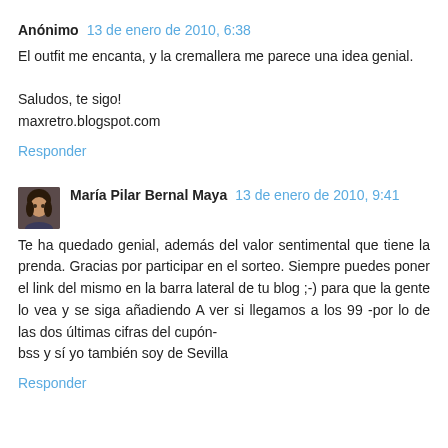Anónimo  13 de enero de 2010, 6:38
El outfit me encanta, y la cremallera me parece una idea genial.

Saludos, te sigo!
maxretro.blogspot.com
Responder
María Pilar Bernal Maya  13 de enero de 2010, 9:41
Te ha quedado genial, además del valor sentimental que tiene la prenda. Gracias por participar en el sorteo. Siempre puedes poner el link del mismo en la barra lateral de tu blog ;-) para que la gente lo vea y se siga añadiendo A ver si llegamos a los 99 -por lo de las dos últimas cifras del cupón-
bss y sí yo también soy de Sevilla
Responder